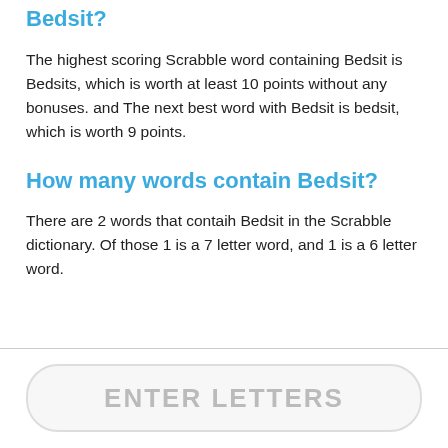Bedsit?
The highest scoring Scrabble word containing Bedsit is Bedsits, which is worth at least 10 points without any bonuses. and The next best word with Bedsit is bedsit, which is worth 9 points.
How many words contain Bedsit?
There are 2 words that contaih Bedsit in the Scrabble dictionary. Of those 1 is a 7 letter word, and 1 is a 6 letter word.
ENTER LETTERS